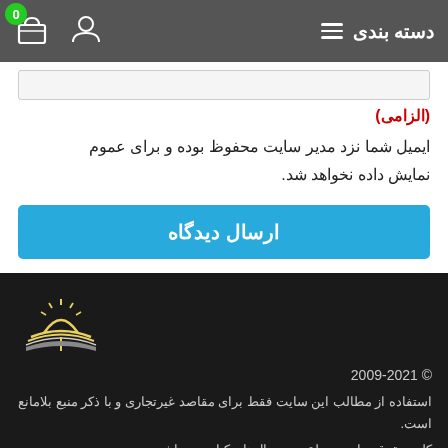دسته بندی
(الزامی)
ایمیل شما نزد مدیر سایت محفوظ بوده و برای عموم نمایش داده نخواهد شد.
ارسال دیدگاه
[Figure (logo): Open book with sun logo in white/gold on dark background]
© 2009-2021
استفاده از مطالب این سایت فقط برای مقاصد غیرتجاری و با ذکر منبع بلامانع است.
کلیه حقوق سایت متعلق به بر بال‌های کتاب می‌باشد.
معرفی و خدمات